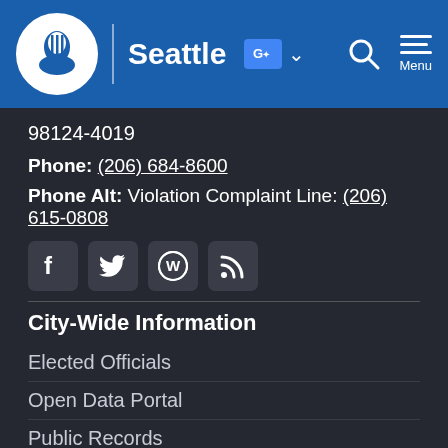Seattle
98124-4019
Phone: (206) 684-8600
Phone Alt: Violation Complaint Line: (206) 615-0808
[Figure (illustration): Social media icons: Facebook, Twitter, WordPress, RSS feed]
City-Wide Information
Elected Officials
Open Data Portal
Public Records
City News Feed